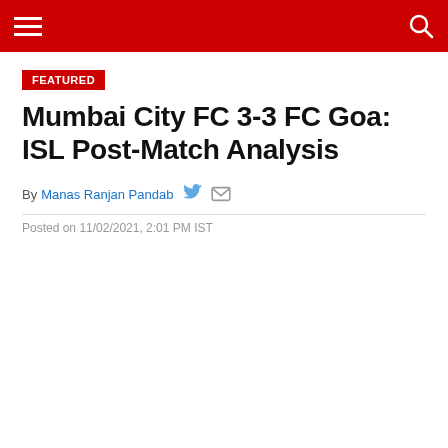Navigation bar with hamburger menu and search icon
FEATURED
Mumbai City FC 3-3 FC Goa: ISL Post-Match Analysis
By Manas Ranjan Pandab
Posted on 11/02/2021, 2:01 PM IST